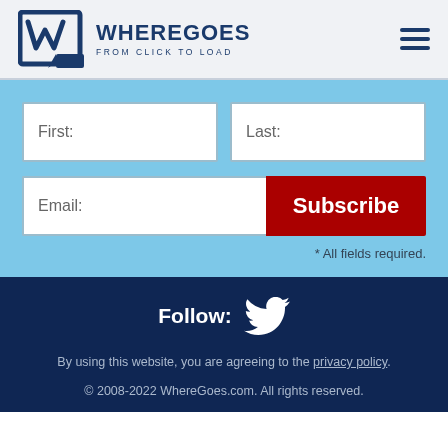WhereGoes — From Click to Load
[Figure (infographic): WhereGoes logo with tagline 'From Click to Load' and hamburger menu icon]
First:
Last:
Email:
Subscribe
* All fields required.
Follow: [Twitter icon]
By using this website, you are agreeing to the privacy policy.
© 2008-2022 WhereGoes.com. All rights reserved.